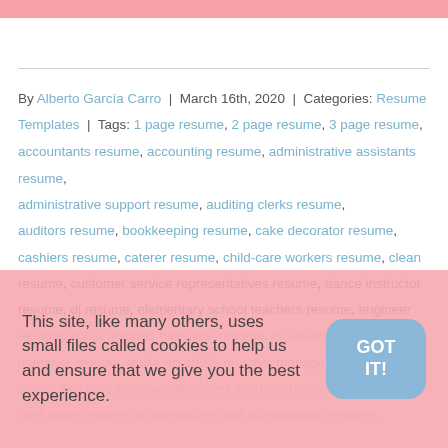By Alberto García Carro | March 16th, 2020 | Categories: Resume Templates | Tags: 1 page resume, 2 page resume, 3 page resume, accountants resume, accounting resume, administrative assistants resume, administrative support resume, auditing clerks resume, auditors resume, bookkeeping resume, cake decorator resume, cashiers resume, caterer resume, child-care workers resume, clean resume, customer service representatives resume, dance instructor resume, dj resume, elementary school teachers resume, engineer resume, florist resume, hairstylist resume, hr assistant resume, hr manager resume, make-up artists resume, manager resume, school teachers resume, office clerk resume, paralegal, care aides resume, photographer and videographer resume
This site, like many others, uses small files called cookies to help us and ensure that we give you the best experience.